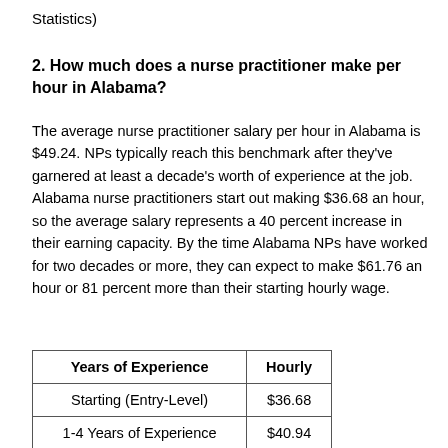Statistics)
2. How much does a nurse practitioner make per hour in Alabama?
The average nurse practitioner salary per hour in Alabama is $49.24. NPs typically reach this benchmark after they've garnered at least a decade's worth of experience at the job. Alabama nurse practitioners start out making $36.68 an hour, so the average salary represents a 40 percent increase in their earning capacity. By the time Alabama NPs have worked for two decades or more, they can expect to make $61.76 an hour or 81 percent more than their starting hourly wage.
| Years of Experience | Hourly |
| --- | --- |
| Starting (Entry-Level) | $36.68 |
| 1-4 Years of Experience | $40.94 |